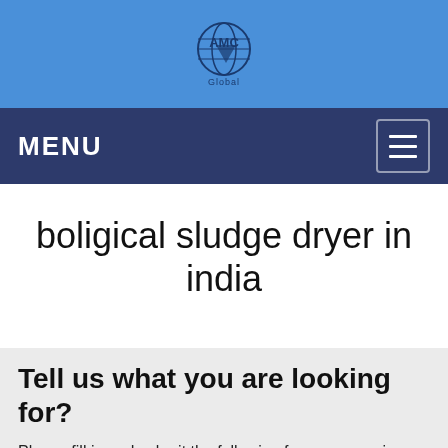[Figure (logo): AMC Global company logo: globe with text AMC and 'Global' below, in dark blue on blue background]
MENU
boligical sludge dryer in india
Tell us what you are looking for?
Please fill in and submit the following form, our service team will contact you as soon as possible and provide a complete solution.